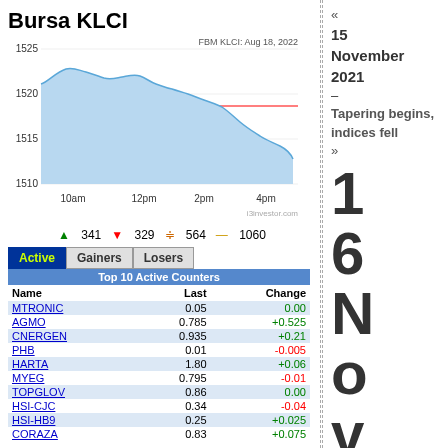Bursa KLCI
[Figure (line-chart): FBM KLCI: Aug 18, 2022]
▲ 341  ▼ 329  ≑ 564  — 1060
| Name | Last | Change |
| --- | --- | --- |
| MTRONIC | 0.05 | 0.00 |
| AGMO | 0.785 | +0.525 |
| CNERGEN | 0.935 | +0.21 |
| PHB | 0.01 | -0.005 |
| HARTA | 1.80 | +0.06 |
| MYEG | 0.795 | -0.01 |
| TOPGLOV | 0.86 | 0.00 |
| HSI-CJC | 0.34 | -0.04 |
| HSI-HB9 | 0.25 | +0.025 |
| CORAZA | 0.83 | +0.075 |
« 15 November 2021 – Tapering begins, indices fell »
16 Nove